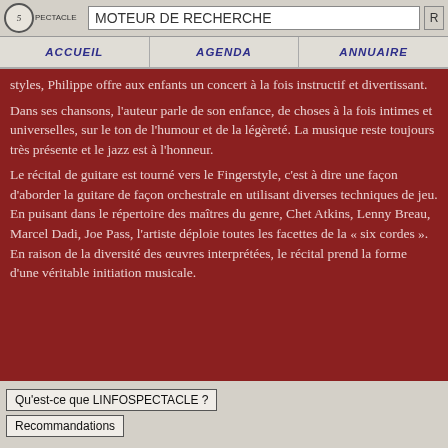MOTEUR DE RECHERCHE
ACCUEIL | AGENDA | ANNUAIRE
styles, Philippe offre aux enfants un concert à la fois instructif et divertissant. Dans ses chansons, l'auteur parle de son enfance, de choses à la fois intimes et universelles, sur le ton de l'humour et de la légèreté. La musique reste toujours très présente et le jazz est à l'honneur. Le récital de guitare est tourné vers le Fingerstyle, c'est à dire une façon d'aborder la guitare de façon orchestrale en utilisant diverses techniques de jeu. En puisant dans le répertoire des maîtres du genre, Chet Atkins, Lenny Breau, Marcel Dadi, Joe Pass, l'artiste déploie toutes les facettes de la « six cordes ». En raison de la diversité des œuvres interprétées, le récital prend la forme d'une véritable initiation musicale.
Qu'est-ce que LINFOSPECTACLE ?
Recommandations